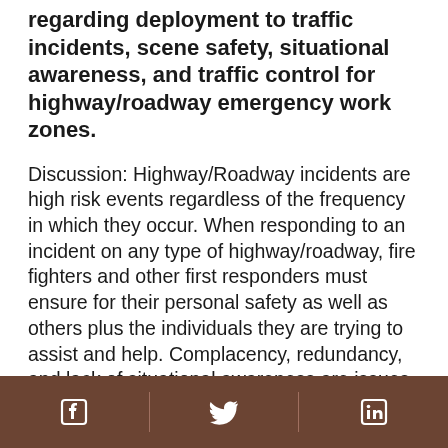regarding deployment to traffic incidents, scene safety, situational awareness, and traffic control for highway/roadway emergency work zones.
Discussion: Highway/Roadway incidents are high risk events regardless of the frequency in which they occur. When responding to an incident on any type of highway/roadway, fire fighters and other first responders must ensure for their personal safety as well as others plus the individuals they are trying to assist and help. Complacency, redundancy, and lack of situational awareness are issues that all responders must avoid when dealing with highway/roadway incidents. Safety of the emergency responders, care of the injured, protection of the public, protection of the environment, and clearance of the traffic area should all be the priority...
Facebook | Twitter | LinkedIn